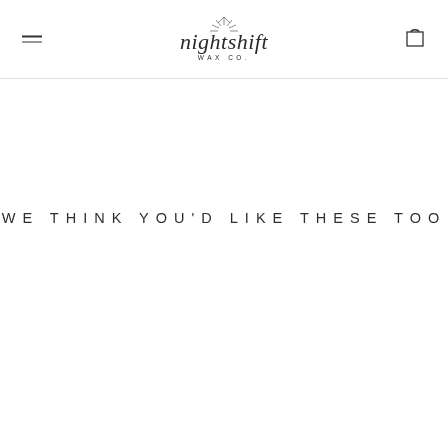Nightshift WAX CO.
WE THINK YOU'D LIKE THESE TOO